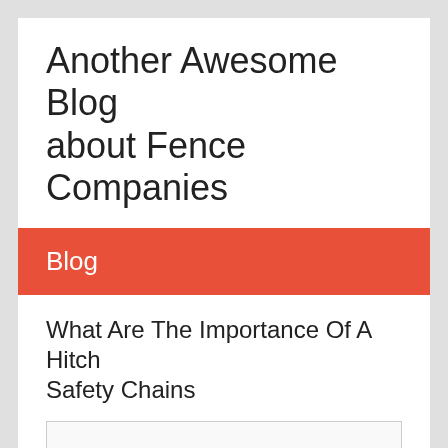Another Awesome Blog about Fence Companies
Blog
What Are The Importance Of A Hitch Safety Chains
[Figure (other): Placeholder image box for article image]
We previously discussed the dangers associated with towing equipment and that it is very essential to have it...